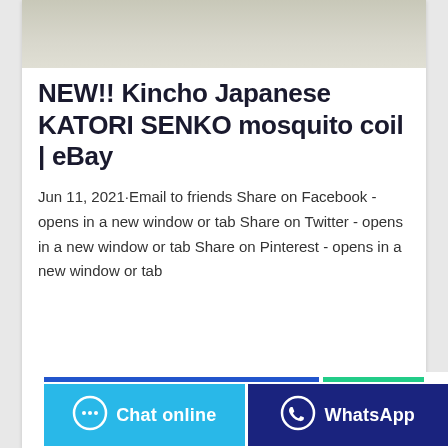[Figure (photo): Partial top view of a product image (mosquito coil / Kincho Katori Senko), cropped at the top of the card]
NEW!! Kincho Japanese KATORI SENKO mosquito coil | eBay
Jun 11, 2021·Email to friends Share on Facebook - opens in a new window or tab Share on Twitter - opens in a new window or tab Share on Pinterest - opens in a new window or tab
[Figure (other): Bottom bar with two buttons: 'Chat online' (cyan/light blue) and 'WhatsApp' (dark blue), each with an icon. Above the buttons are two colored stripes: a blue stripe and a green stripe.]